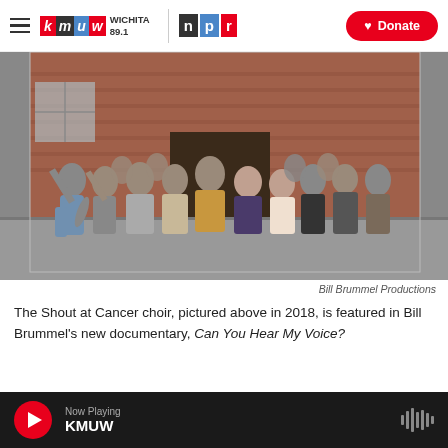KMUW Wichita 89.1 | NPR | Donate
[Figure (photo): Group photo of the Shout at Cancer choir standing in front of a brick building, taken in 2018. About 15 people of varying ages are pictured, some waving and cheering.]
Bill Brummel Productions
The Shout at Cancer choir, pictured above in 2018, is featured in Bill Brummel's new documentary, Can You Hear My Voice?
Now Playing KMUW